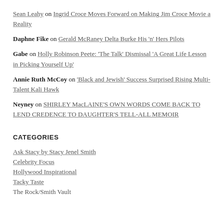Sean Leahy on Ingrid Croce Moves Forward on Making Jim Croce Movie a Reality
Daphne Fike on Gerald McRaney Delta Burke His 'n' Hers Pilots
Gabe on Holly Robinson Peete: 'The Talk' Dismissal 'A Great Life Lesson in Picking Yourself Up'
Annie Ruth McCoy on 'Black and Jewish' Success Surprised Rising Multi-Talent Kali Hawk
Neyney on SHIRLEY MacLAINE'S OWN WORDS COME BACK TO LEND CREDENCE TO DAUGHTER'S TELL-ALL MEMOIR
CATEGORIES
Ask Stacy by Stacy Jenel Smith
Celebrity Focus
Hollywood Inspirational
Tacky Taste
The Rock/Smith Vault